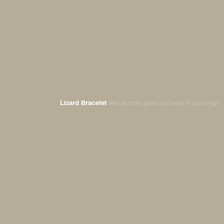Lizard Bracelet
with dichroic glass and band of cast twigs